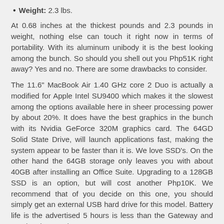Weight: 2.3 lbs.
At 0.68 inches at the thickest pounds and 2.3 pounds in weight, nothing else can touch it right now in terms of portability. With its aluminum unibody it is the best looking among the bunch. So should you shell out you Php51K right away? Yes and no. There are some drawbacks to consider.
The 11.6" MacBook Air 1.40 GHz core 2 Duo is actually a modified for Apple Intel SU9400 which makes it the slowest among the options available here in sheer processing power by about 20%. It does have the best graphics in the bunch with its Nvidia GeForce 320M graphics card. The 64GD Solid State Drive, will launch applications fast, making the system appear to be faster than it is. We love SSD's. On the other hand the 64GB storage only leaves you with about 40GB after installing an Office Suite. Upgrading to a 128GB SSD is an option, but will cost another Php10K. We recommend that of you decide on this one, you should simply get an external USB hard drive for this model. Battery life is the advertised 5 hours is less than the Gateway and Ace by about an hour.
In the end, the 11.6" MacBook Air is the slowest in the